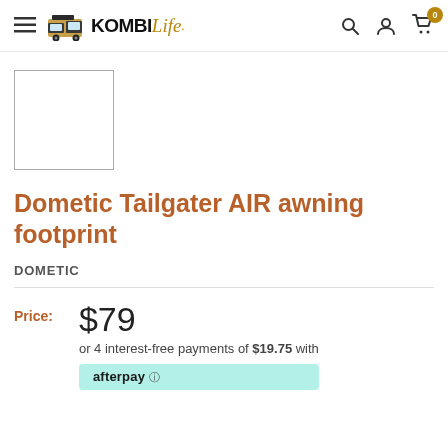KombiLife — Navigation header with hamburger menu, logo, search, account, and cart (0 items)
[Figure (photo): Product thumbnail placeholder — empty white box with gray border]
Dometic Tailgater AIR awning footprint
DOMETIC
Price: $79 or 4 interest-free payments of $19.75 with afterpay